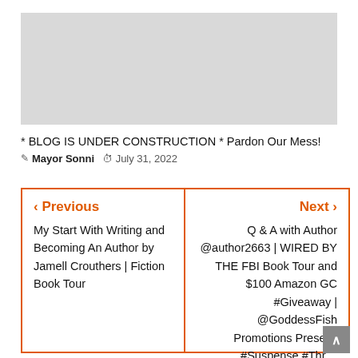[Figure (photo): Gray placeholder image for a blog post header]
* BLOG IS UNDER CONSTRUCTION * Pardon Our Mess!
✎ Mayor Sonni  ⏱ July 31, 2022
‹ Previous
My Start With Writing and Becoming An Author by Jamell Crouthers | Fiction Book Tour
Next ›
Q & A with Author @author2663 | WIRED BY THE FBI Book Tour and $100 Amazon GC #Giveaway | @GoddessFish Promotions Prese… #Suspense #Thr…